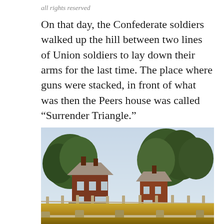all rights reserved
On that day, the Confederate soldiers walked up the hill between two lines of Union soldiers to lay down their arms for the last time. The place where guns were stacked, in front of what was then the Peers house was called “Surrender Triangle.”
[Figure (photo): Photograph of historic Civil War era buildings — two red-brick houses with chimneys, surrounded by large trees, behind a wooden split-rail fence, with golden/dry grass field in the foreground. Likely Appomattox Court House National Historical Park.]